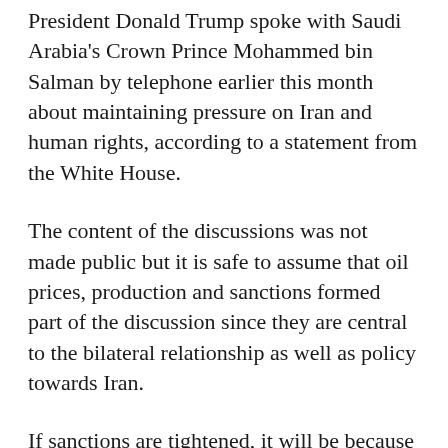President Donald Trump spoke with Saudi Arabia's Crown Prince Mohammed bin Salman by telephone earlier this month about maintaining pressure on Iran and human rights, according to a statement from the White House.
The content of the discussions was not made public but it is safe to assume that oil prices, production and sanctions formed part of the discussion since they are central to the bilateral relationship as well as policy towards Iran.
If sanctions are tightened, it will be because the White House believes it has an undertaking from Saudi Arabia to increase production by at least the equivalent amount, if not more, to contain the impact on U.S. motorists.